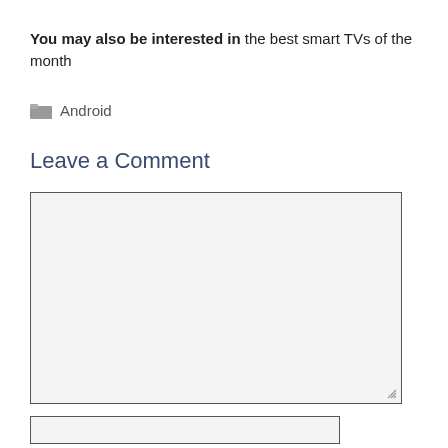You may also be interested in the best smart TVs of the month
Android
Leave a Comment
[Figure (other): Empty comment textarea input box with light gray background and border, with a resize handle in the bottom-right corner]
[Figure (other): Empty text input box (name field) with light gray background and border, partially visible at bottom of page]